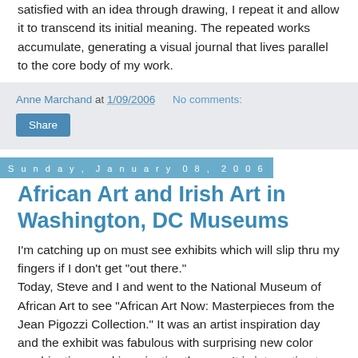satisfied with an idea through drawing, I repeat it and allow it to transcend its initial meaning. The repeated works accumulate, generating a visual journal that lives parallel to the core body of my work.
Anne Marchand at 1/09/2006   No comments:
Share
Sunday, January 08, 2006
African Art and Irish Art in Washington, DC Museums
I'm catching up on must see exhibits which will slip thru my fingers if I don't get "out there."
Today, Steve and I and went to the National Museum of African Art to see "African Art Now: Masterpieces from the Jean Pigozzi Collection." It was an artist inspiration day and the exhibit was fabulous with surprising new color combinations and imaginative themes. It is interesting to note that of the twenty-eight artists represented, two are